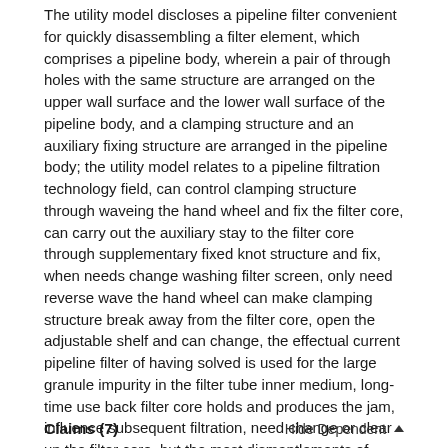The utility model discloses a pipeline filter convenient for quickly disassembling a filter element, which comprises a pipeline body, wherein a pair of through holes with the same structure are arranged on the upper wall surface and the lower wall surface of the pipeline body, and a clamping structure and an auxiliary fixing structure are arranged in the pipeline body; the utility model relates to a pipeline filtration technology field, can control clamping structure through waveing the hand wheel and fix the filter core, can carry out the auxiliary stay to the filter core through supplementary fixed knot structure and fix, when needs change washing filter screen, only need reverse wave the hand wheel can make clamping structure break away from the filter core, open the adjustable shelf and can change, the effectual current pipeline filter of having solved is used for the large granule impurity in the filter tube inner medium, long-time use back filter core holds and produces the jam, influence subsequent filtration, need change or clear up the filter core, but the most dismantlements of current pipeline filter and the problem that the renew cartridge very wastes time and energy of renew cartridge.
Claims (7)
Hide Dependent